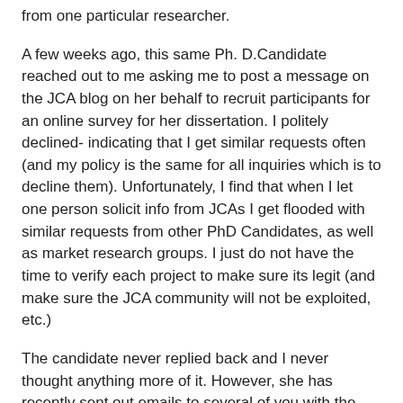from one particular researcher.
A few weeks ago, this same Ph. D.Candidate reached out to me asking me to post a message on the JCA blog on her behalf to recruit participants for an online survey for her dissertation. I politely declined- indicating that I get similar requests often (and my policy is the same for all inquiries which is to decline them). Unfortunately, I find that when I let one person solicit info from JCAs I get flooded with similar requests from other PhD Candidates, as well as market research groups. I just do not have the time to verify each project to make sure its legit (and make sure the JCA community will not be exploited, etc.)
The candidate never replied back and I never thought anything more of it. However, she has recently sent out emails to several of you with the opening of "Dear *J.CREW AFICIONADA* member, As a member of J.CREW AFICIONADA you are invited to participate in an online research survey to study..."
Considering I declined the JCA blog's participation with her...